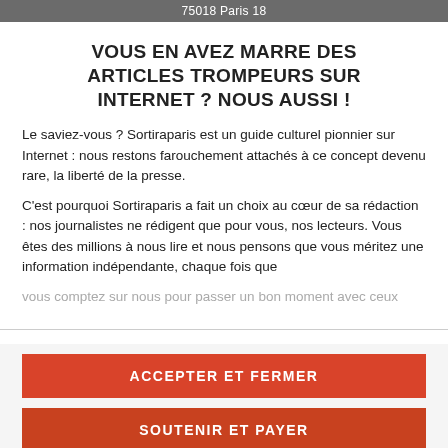75018 Paris 18
VOUS EN AVEZ MARRE DES ARTICLES TROMPEURS SUR INTERNET ? NOUS AUSSI !
Le saviez-vous ? Sortiraparis est un guide culturel pionnier sur Internet : nous restons farouchement attachés à ce concept devenu rare, la liberté de la presse.
C'est pourquoi Sortiraparis a fait un choix au cœur de sa rédaction : nos journalistes ne rédigent que pour vous, nos lecteurs. Vous êtes des millions à nous lire et nous pensons que vous méritez une information indépendante, chaque fois que vous comptez sur nous pour passer un bon moment avec ceux
ACCEPTER ET FERMER
SOUTENIR ET PAYER
Paris